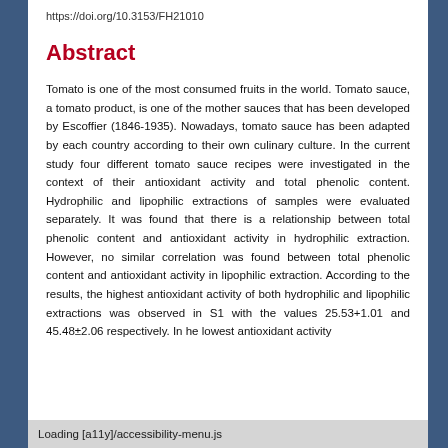https://doi.org/10.3153/FH21010
Abstract
Tomato is one of the most consumed fruits in the world. Tomato sauce, a tomato product, is one of the mother sauces that has been developed by Escoffier (1846-1935). Nowadays, tomato sauce has been adapted by each country according to their own culinary culture. In the current study four different tomato sauce recipes were investigated in the context of their antioxidant activity and total phenolic content. Hydrophilic and lipophilic extractions of samples were evaluated separately. It was found that there is a relationship between total phenolic content and antioxidant activity in hydrophilic extraction. However, no similar correlation was found between total phenolic content and antioxidant activity in lipophilic extraction. According to the results, the highest antioxidant activity of both hydrophilic and lipophilic extractions was observed in S1 with the values 25.53+1.01 and 45.48±2.06 respectively. In he lowest antioxidant activity